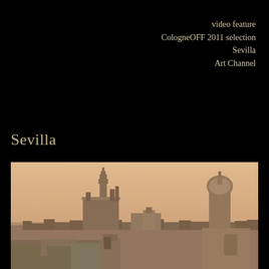video feature
CologneOFF 2011 selection
Sevilla
Art Channel
Sevilla
[Figure (photo): Sepia-toned panoramic cityscape of Sevilla showing the Giralda tower and cathedral on the left, rooftops of the historic city center in the middle, and a baroque church tower on the right, against a warm orange-pink sky.]